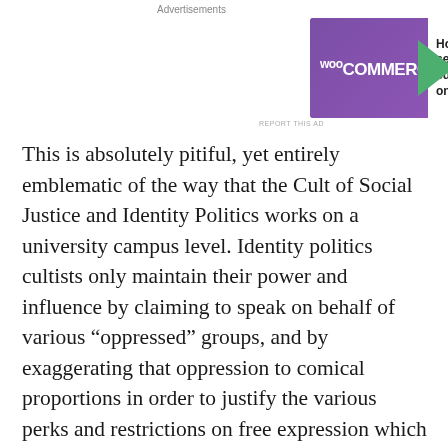Advertisements
[Figure (other): WooCommerce advertisement banner with purple background, green arrow, and text 'How to start selling subscriptions online']
This is absolutely pitiful, yet entirely emblematic of the way that the Cult of Social Justice and Identity Politics works on a university campus level. Identity politics cultists only maintain their power and influence by claiming to speak on behalf of various “oppressed” groups, and by exaggerating that oppression to comical proportions in order to justify the various perks and restrictions on free expression which are inevitably demanded. And this inevitably leads to a ratchet effect, with more and more subgroups of people being identified as “vulnerable” or “oppressed”, and ever-smaller problems being cast as intolerable harms done to them.